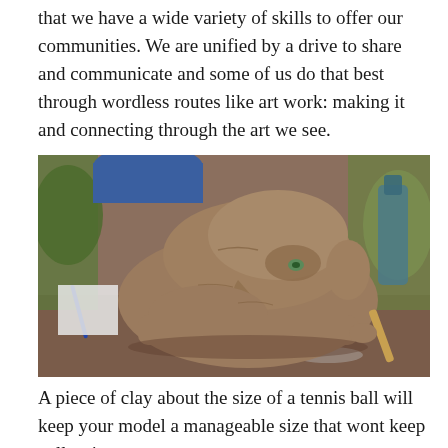that we have a wide variety of skills to offer our communities. We are unified by a drive to share and communicate and some of us do that best through wordless routes like art work: making it and connecting through the art we see.
[Figure (photo): A clay sculpture of a human face/head profile resting on a table outdoors, with plant pots and foliage visible in the background.]
A piece of clay about the size of a tennis ball will keep your model a manageable size that wont keep collapsing